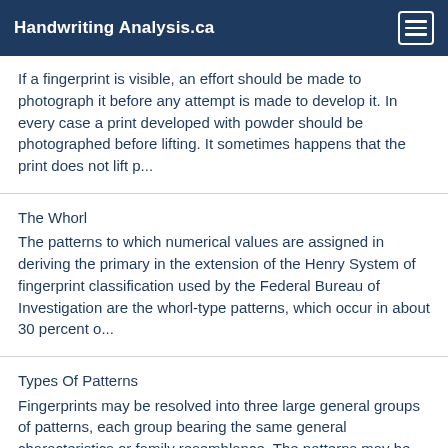Handwriting Analysis.ca
If a fingerprint is visible, an effort should be made to photograph it before any attempt is made to develop it. In every case a print developed with powder should be photographed before lifting. It sometimes happens that the print does not lift p...
The Whorl
The patterns to which numerical values are assigned in deriving the primary in the extension of the Henry System of fingerprint classification used by the Federal Bureau of Investigation are the whorl-type patterns, which occur in about 30 percent o...
Types Of Patterns
Fingerprints may be resolved into three large general groups of patterns, each group bearing the same general characteristics or family resemblance. The patterns may be further divided into sub-groups by